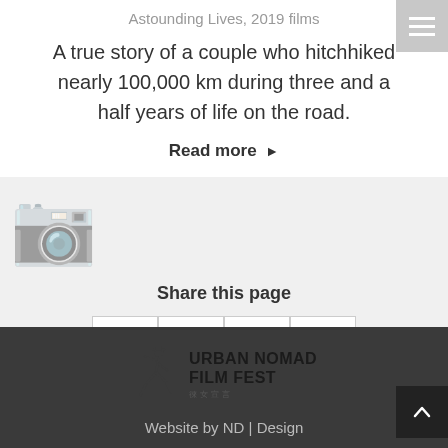Astounding Lives, 2019 films
A true story of a couple who hitchhiked nearly 100,000 km during three and a half years of life on the road.
Read more ▶
Share this page
[Figure (other): Social share buttons: Facebook (f), Twitter (bird), Google+ (G+), Pinterest (P)]
[Figure (logo): Urban Nomad Film Fest logo with running figure]
Website by ND | Design